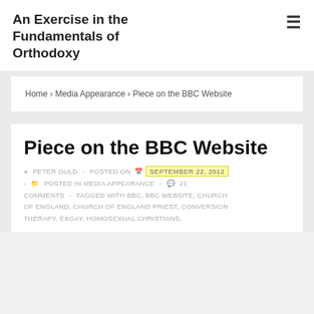An Exercise in the Fundamentals of Orthodoxy
Home › Media Appearance › Piece on the BBC Website
Piece on the BBC Website
PETER OULD - POSTED ON SEPTEMBER 22, 2012 - POSTED IN MEDIA APPEARANCE - 21 COMMENTS - TAGGED WITH BBC, BBC WEBSITE, CHURCH OF ENGLAND, CHURCH OF ENGLAND PRIEST, CONVERSION THERAPY, EXGAY, HOMOSEXUAL CHRISTIANS,